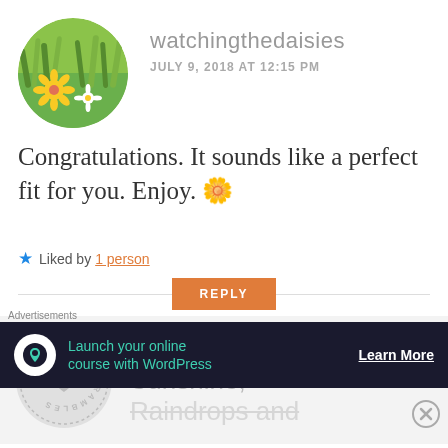watchingthedaisies
JULY 9, 2018 AT 12:15 PM
Congratulations. It sounds like a perfect fit for you. Enjoy. 🌼
★ Liked by 1 person
REPLY
Fiona, Sunshine, Raindrops and
Advertisements
Launch your online course with WordPress
Learn More